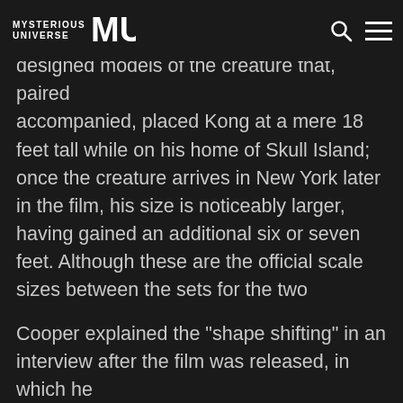MYSTERIOUS UNIVERSE
designed models of the creature that, paired accompanied, placed Kong at a mere 18 feet tall while on his home of Skull Island; once the creature arrives in New York later in the film, his size is noticeably larger, having gained an additional six or seven feet. Although these are the official scale sizes between the sets for the two locations in relation to the models of Kong used in the film, O'Brien and Cooper used camera angles and placement of various props to create the impression that Kong was even larger; at times, the beast appeared to have grown to a startling 60 feet!
Cooper explained the "shape shifting" in an interview after the film was released, in which he